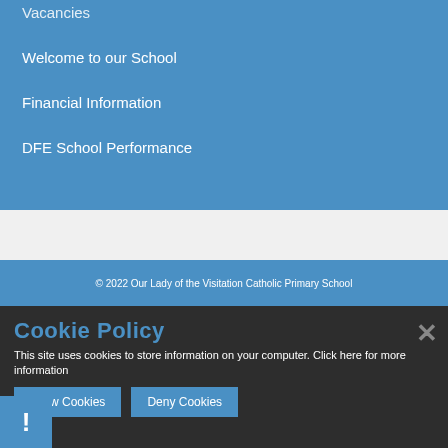Vacancies
Welcome to our School
Financial Information
DFE School Performance
© 2022 Our Lady of the Visitation Catholic Primary School
Cookie Policy
This site uses cookies to store information on your computer. Click here for more information
Allow Cookies
Deny Cookies